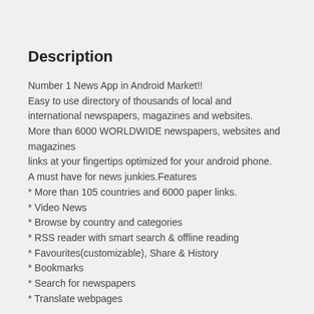Description
Number 1 News App in Android Market!!
Easy to use directory of thousands of local and international newspapers, magazines and websites.
More than 6000 WORLDWIDE newspapers, websites and magazines
links at your fingertips optimized for your android phone.
A must have for news junkies.Features
* More than 105 countries and 6000 paper links.
* Video News
* Browse by country and categories
* RSS reader with smart search & offline reading
* Favourites(customizable), Share & History
* Bookmarks
* Search for newspapers
* Translate webpages